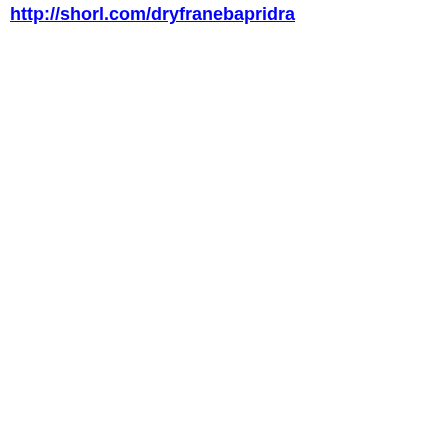http://shorl.com/dryfranebapridra